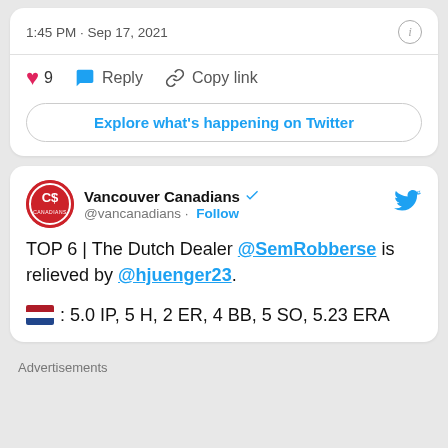1:45 PM · Sep 17, 2021
♥ 9   Reply   Copy link
Explore what's happening on Twitter
Vancouver Canadians @vancannadians · Follow
TOP 6 | The Dutch Dealer @SemRobberse is relieved by @hjuenger23.
🇳🇱: 5.0 IP, 5 H, 2 ER, 4 BB, 5 SO, 5.23 ERA
Advertisements